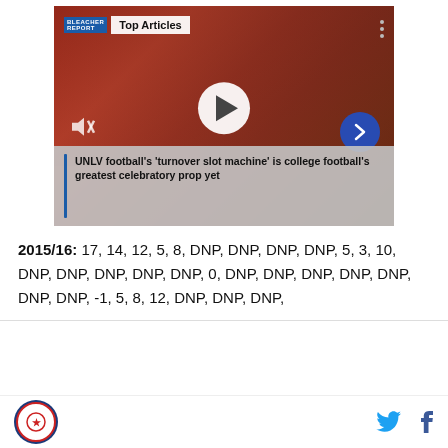[Figure (screenshot): Video player thumbnail showing football players in red uniforms with 'Top Articles' overlay bar, play button, mute icon, next arrow button, and caption overlay about UNLV football turnover slot machine]
UNLV football’s ‘turnover slot machine’ is college football’s greatest celebratory prop yet
2015/16: 17, 14, 12, 5, 8, DNP, DNP, DNP, DNP, 5, 3, 10, DNP, DNP, DNP, DNP, DNP, 0, DNP, DNP, DNP, DNP, DNP, DNP, DNP, -1, 5, 8, 12, DNP, DNP, DNP,